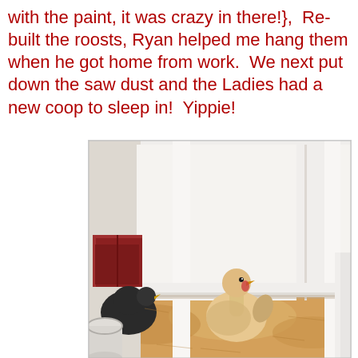with the paint, it was crazy in there!},  Re-built the roosts, Ryan helped me hang them when he got home from work.  We next put down the saw dust and the Ladies had a new coop to sleep in!  Yippie!
[Figure (photo): Interior of a freshly painted white chicken coop with sawdust on the floor. A light-colored chicken stands in the center on the sawdust bedding. A red nesting box is visible on the left wall, a dark chicken is partially visible near it. A white bucket is on the lower left, and white structural framing is on the right.]